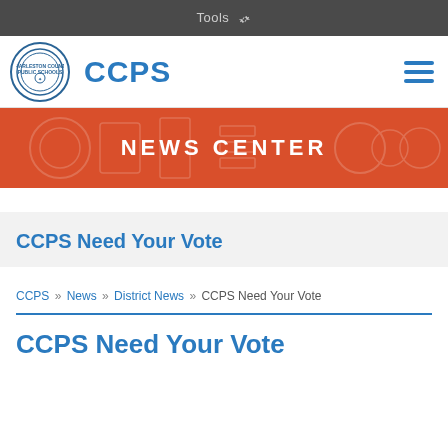Tools
[Figure (logo): CCPS logo — circular seal with school emblem and CCPS wordmark]
NEWS CENTER
CCPS Need Your Vote
CCPS » News » District News » CCPS Need Your Vote
CCPS Need Your Vote